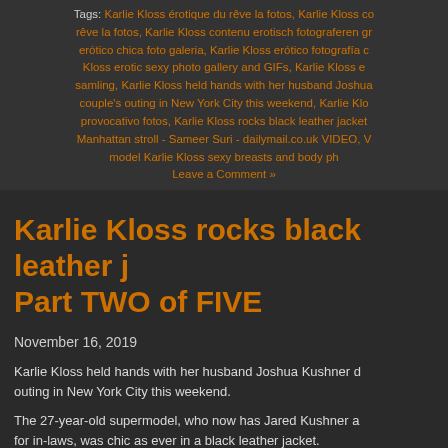Tags: Karlie Kloss érotique du rêve la fotos, Karlie Kloss co rêve la fotos, Karlie Kloss contenu erotisch fotograferen gr erótico chica foto galeria, Karlie Kloss erótico fotografía c Kloss erotic sexy photo gallery and GIFs, Karlie Kloss e samling, Karlie Kloss held hands with her husband Joshua couple's outing in New York City this weekend, Karlie Klos provocativo fotos, Karlie Kloss rocks black leather jacket Manhattan stroll - Sameer Suri - dailymail.co.uk VIDEO, V model Karlie Kloss sexy breasts and body ph
Leave a Comment »
Karlie Kloss rocks black leather j Part TWO of FIVE
November 16, 2019
Karlie Kloss held hands with her husband Joshua Kushner d outing in New York City this weekend.
The 27-year-old supermodel, who now has Jared Kushner a for in-laws, was chic as ever in a black leather jacket.
She threw the wrap over a print hoodie and showed off her s pair of fitted fossil grey jeans for her day out.